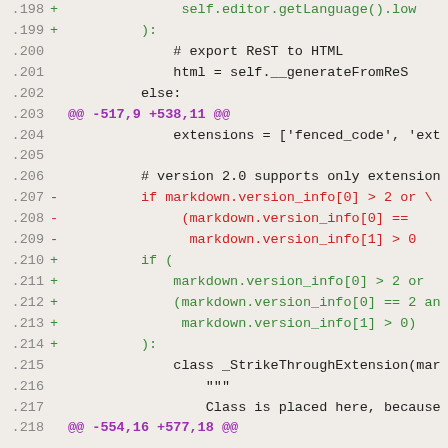[Figure (screenshot): A unified diff / code review screenshot showing lines 198-218 of a Python source file with added (green) and removed (red) lines, and hunk headers in purple, on a light beige background.]